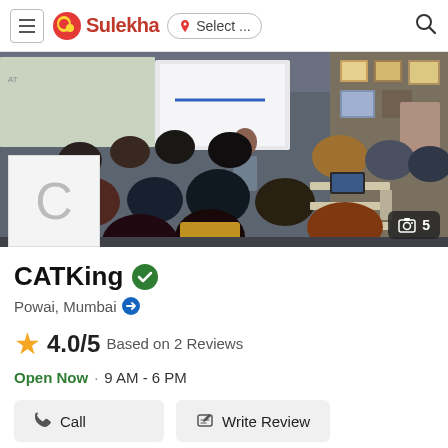Sulekha — Select ... (location)
[Figure (photo): Classroom scene with students seated at desks, a presenter standing near a projected screen, and certificates/awards on the wall. A business logo placeholder 'C' is shown in bottom-left corner. Photo count badge shows camera icon and '5' in bottom-right corner.]
CATKing
Powai, Mumbai
4.0/5 Based on 2 Reviews
Open Now · 9 AM - 6 PM
Call   Write Review